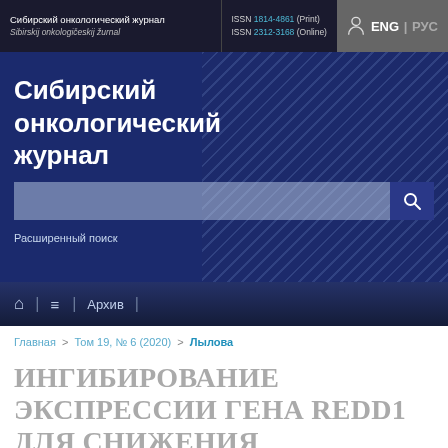Сибирский онкологический журнал / Sibirskij onkologičeskij žurnal | ISSN 1814-4861 (Print) ISSN 2312-3168 (Online) | ENG | РУС
Сибирский онкологический журнал
Расширенный поиск
⌂ | ≡ | Архив |
Главная > Том 19, № 6 (2020) > Лылова
ИНГИБИРОВАНИЕ ЭКСПРЕССИИ ГЕНА REDD1 ДЛЯ СНИЖЕНИЯ ПОБОЧНЫХ